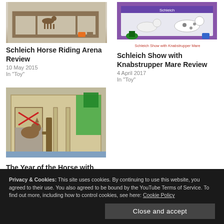[Figure (photo): Schleich horse riding arena toy set with wooden fence and horses]
[Figure (photo): Schleich Show with Knabstrupper Mare toy set product image]
Schleich Show with Knabstrupper Mare
Schleich Horse Riding Arena Review
10 May 2015
In "Toy"
Schleich Show with Knabstrupper Mare Review
4 April 2017
In "Toy"
[Figure (photo): Cardboard horse stable toy box with green cloth and horse figures inside]
The Year of the Horse with
Filed under: Toy
Tagged With: horse, riding, toy, review
Privacy & Cookies: This site uses cookies. By continuing to use this website, you agreed to their use. You also agreed to be bound by the YouTube Terms of Service. To find out more, including how to control cookies, see here: Cookie Policy
Close and accept